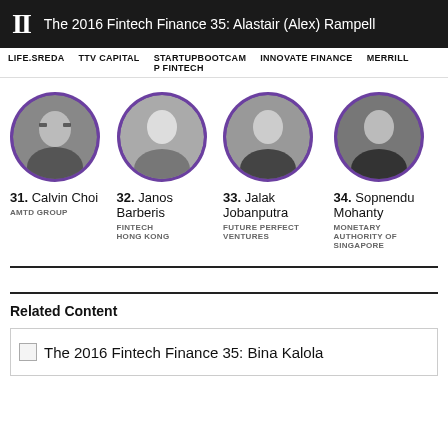II  The 2016 Fintech Finance 35: Alastair (Alex) Rampell
LIFE.SREDA   TTV CAPITAL   STARTUPBOOTCAMP FINTECH   INNOVATE FINANCE   MERRILL
[Figure (photo): Four circular portrait photos of fintech leaders numbered 31-34: Calvin Choi (AMTD Group), Janos Barberis (Fintech Hong Kong), Jalak Jobanputra (Future Perfect Ventures), Sopnendu Mohanty (Monetary Authority of Singapore)]
Related Content
The 2016 Fintech Finance 35: Bina Kalola